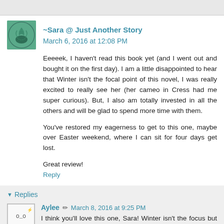~Sara @ Just Another Story  March 6, 2016 at 12:08 PM
Eeeeek, I haven't read this book yet (and I went out and bought it on the first day). I am a little disappointed to hear that Winter isn't the focal point of this novel, I was really excited to really see her (her cameo in Cress had me super curious). But, I also am totally invested in all the others and will be glad to spend more time with them.

You've restored my eagerness to get to this one, maybe over Easter weekend, where I can sit for four days get lost.

Great review!
Reply
Replies
Aylee  March 8, 2016 at 9:25 PM
I think you'll love this one, Sara! Winter isn't the focus but we do get to learn a bit more about her.